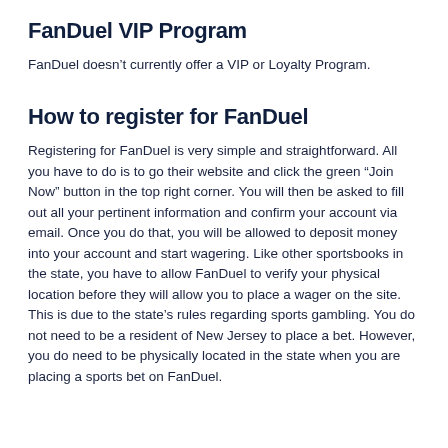FanDuel VIP Program
FanDuel doesn't currently offer a VIP or Loyalty Program.
How to register for FanDuel
Registering for FanDuel is very simple and straightforward. All you have to do is to go their website and click the green “Join Now” button in the top right corner. You will then be asked to fill out all your pertinent information and confirm your account via email. Once you do that, you will be allowed to deposit money into your account and start wagering. Like other sportsbooks in the state, you have to allow FanDuel to verify your physical location before they will allow you to place a wager on the site. This is due to the state’s rules regarding sports gambling. You do not need to be a resident of New Jersey to place a bet. However, you do need to be physically located in the state when you are placing a sports bet on FanDuel.